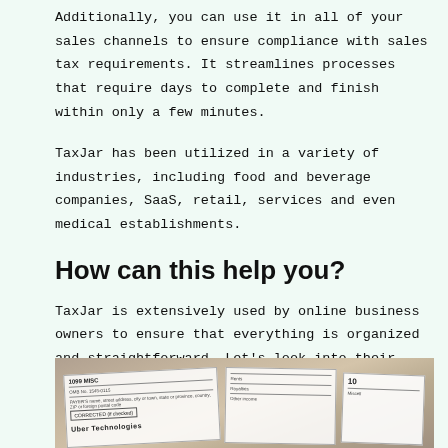Additionally, you can use it in all of your sales channels to ensure compliance with sales tax requirements. It streamlines processes that require days to complete and finish within only a few minutes.
TaxJar has been utilized in a variety of industries, including food and beverage companies, SaaS, retail, services and even medical establishments.
How can this help you?
TaxJar is extensively used by online business owners to ensure that everything is organized and straightforward. Let's look into their features and services.
[Figure (photo): A photo of tax forms including what appears to be a 1099 form with Uber Technologies visible and the number 10 partially visible, along with other overlapping tax documents.]